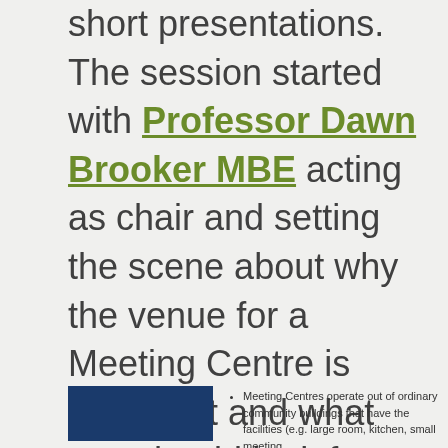short presentations. The session started with Professor Dawn Brooker MBE acting as chair and setting the scene about why the venue for a Meeting Centre is important and what you should look for when exploring potential options.
[Figure (photo): Partial view of a slide or document showing a blue image on the left and bullet points on the right about Meeting Centres operating out of ordinary community buildings]